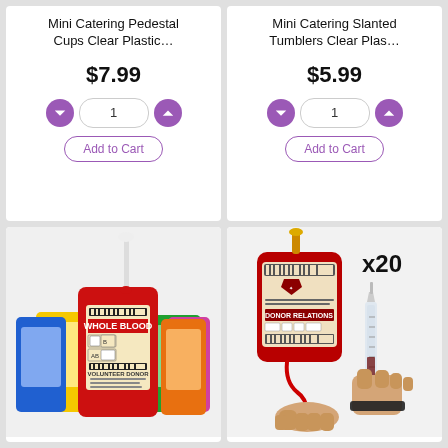Mini Catering Pedestal Cups Clear Plastic…
$7.99
Add to Cart
Mini Catering Slanted Tumblers Clear Plas…
$5.99
Add to Cart
[Figure (photo): Colorful novelty whole blood bag drink pouches in multiple colors with tube]
[Figure (photo): Blood bag drink pouch with syringe, labeled x20, held by hands]